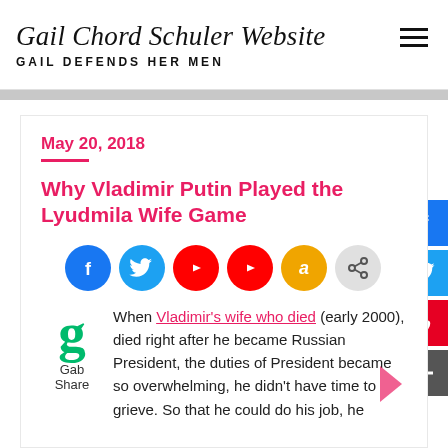Gail Chord Schuler Website — GAIL DEFENDS HER MEN
May 20, 2018
Why Vladimir Putin Played the Lyudmila Wife Game
[Figure (infographic): Social media sharing icons: Facebook, Twitter, YouTube x2, Amazon, Share button, Gab]
When Vladimir's wife who died (early 2000), died right after he became Russian President, the duties of President became so overwhelming, he didn't have time to grieve. So that he could do his job, he